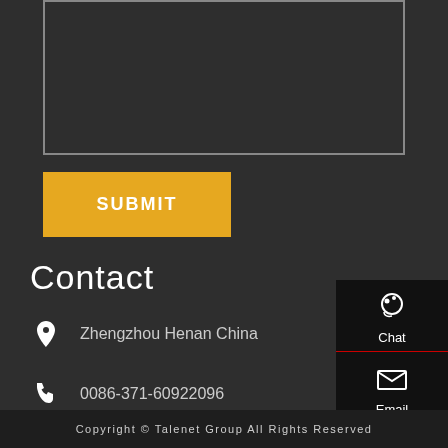[Figure (screenshot): Textarea input box outline at top of page]
SUBMIT
Contact
Zhengzhou Henan China
0086-371-60922096
vip@talenets.com
[Figure (infographic): Sidebar with Chat, Email, Contact, Top icons]
Copyright © Talenet Group All Rights Reserved